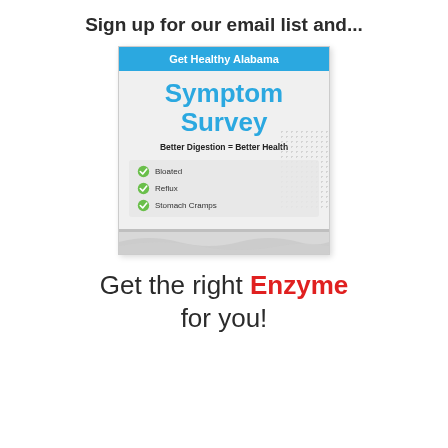Sign up for our email list and...
[Figure (illustration): A brochure image for 'Get Healthy Alabama' Symptom Survey showing a blue header, large blue title 'Symptom Survey', subtitle 'Better Digestion = Better Health', and a checklist with three items: Bloated, Reflux, Stomach Cramps each with a green checkmark icon.]
Get the right Enzyme for you!